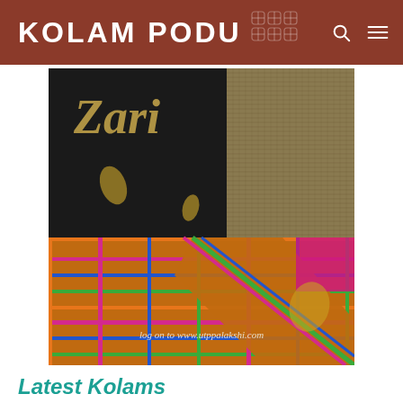KOLAM PODU
[Figure (photo): Close-up photograph of a colorful traditional Indian silk saree with Zari work. The image shows a black fabric with gold zari motifs (paisley/mango shapes), a golden woven border/blouse piece with intricate texture, and a multicolored checked/plaid woven fabric with orange, magenta, blue, and green geometric patterns and gold zari work throughout. Watermark text reads: log on to www.utppalakshi.com]
Latest Kolams